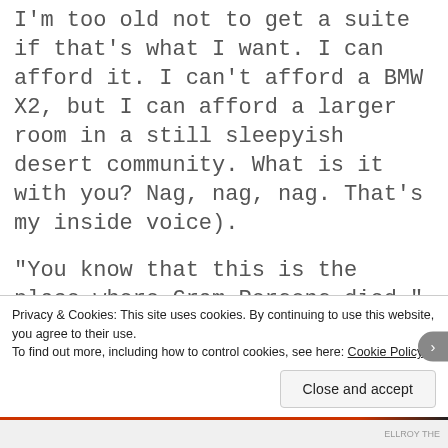I'm too old not to get a suite if that's what I want. I can afford it. I can't afford a BMW X2, but I can afford a larger room in a still sleepyish desert community. What is it with you? Nag, nag, nag. That's my inside voice).
“You know that this is the place where Gram Persons died.”
She just kind of tossed it out there. My experience, admittedly limited, is that
Privacy & Cookies: This site uses cookies. By continuing to use this website, you agree to their use. To find out more, including how to control cookies, see here: Cookie Policy
Close and accept